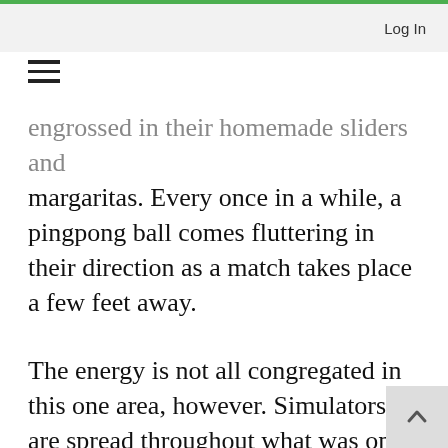Log In
engrossed in their homemade sliders and margaritas. Every once in a while, a pingpong ball comes fluttering in their direction as a match takes place a few feet away.
The energy is not all congregated in this one area, however. Simulators are spread throughout what was once the office of an internet marketing firm. The golfers in those hitting bays are either grinding away on their games, combing through launch